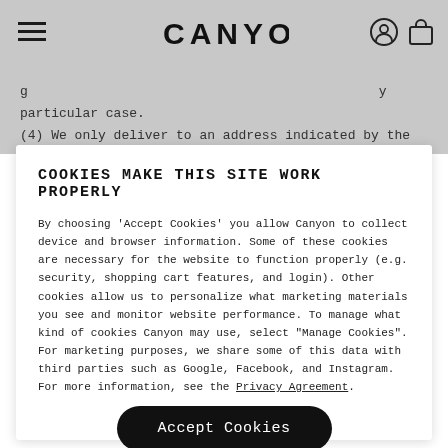CANYON (logo with hamburger menu and account/cart icons)
g ... particularly ... y ... particular case.
(4) We only deliver to an address indicated by the customer in
COOKIES MAKE THIS SITE WORK PROPERLY
By choosing 'Accept Cookies' you allow Canyon to collect device and browser information. Some of these cookies are necessary for the website to function properly (e.g. security, shopping cart features, and login). Other cookies allow us to personalize what marketing materials you see and monitor website performance. To manage what kind of cookies Canyon may use, select "Manage Cookies". For marketing purposes, we share some of this data with third parties such as Google, Facebook, and Instagram. For more information, see the Privacy Agreement.
Accept Cookies
Manage Cookies